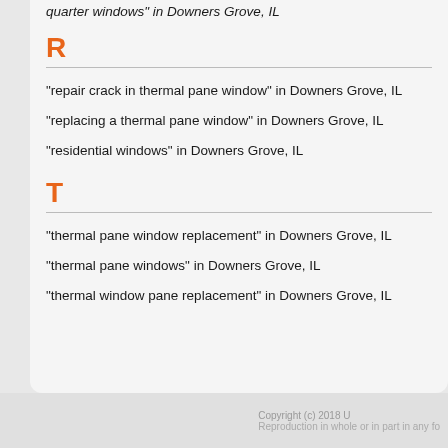quarter windows in Downers Grove, IL
R
"repair crack in thermal pane window" in Downers Grove, IL
"replacing a thermal pane window" in Downers Grove, IL
"residential windows" in Downers Grove, IL
T
"thermal pane window replacement" in Downers Grove, IL
"thermal pane windows" in Downers Grove, IL
"thermal window pane replacement" in Downers Grove, IL
Copyright (c) 2018 U... Reproduction in whole or in part in any fo...